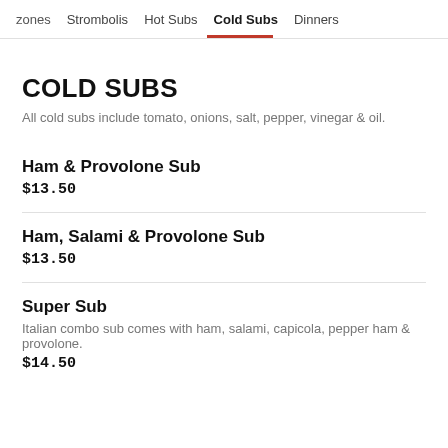zones  Strombolis  Hot Subs  Cold Subs  Dinners
COLD SUBS
All cold subs include tomato, onions, salt, pepper, vinegar & oil.
Ham & Provolone Sub
$13.50
Ham, Salami & Provolone Sub
$13.50
Super Sub
Italian combo sub comes with ham, salami, capicola, pepper ham & provolone.
$14.50